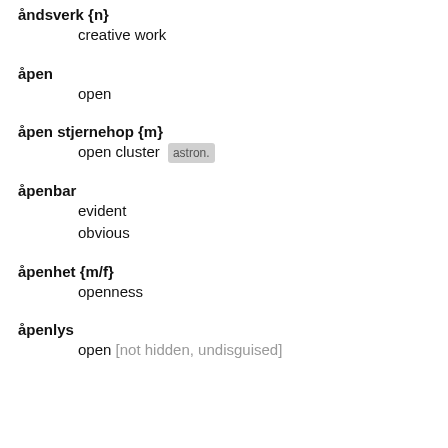åndsverk {n}
    creative work
åpen
    open
åpen stjernehop {m}
    open cluster  astron.
åpenbar
    evident
    obvious
åpenhet {m/f}
    openness
åpenlys
    open [not hidden, undisguised]